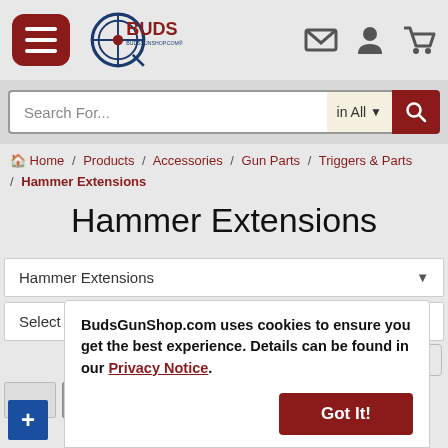[Figure (logo): Buds Gun Shop logo with hamburger menu and navigation icons (email, user, cart)]
Search For...
in All
Home / Products / Accessories / Gun Parts / Triggers & Parts / Hammer Extensions
Hammer Extensions
Hammer Extensions ▼
Select A Manufacturer ▼
More Filters
BudsGunShop.com uses cookies to ensure you get the best experience. Details can be found in our Privacy Notice.
Got It!